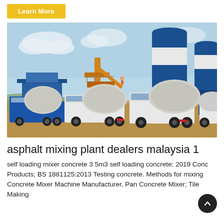Learn More
[Figure (photo): Photo of a concrete/asphalt mixing plant facility with large blue and white industrial silos and several white concrete mixer trucks parked in front on a dirt lot, under a clear blue sky.]
asphalt mixing plant dealers malaysia 1
self loading mixer concrete 3 5m3 self loading concrete; 2019 Concrete Products; BS 1881125:2013 Testing concrete. Methods for mixing Concrete Mixer Machine Manufacturer, Pan Concrete Mixer; Tile Making